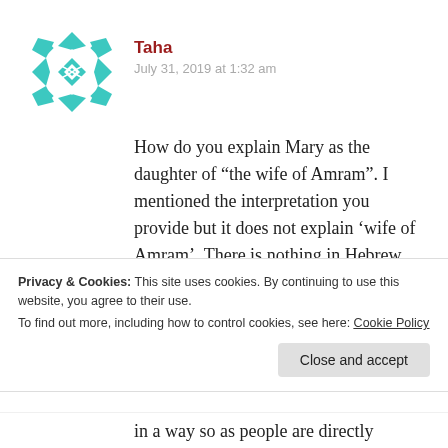[Figure (illustration): Teal geometric/snowflake avatar icon for user Taha]
Taha
July 31, 2019 at 1:32 am
How do you explain Mary as the daughter of “the wife of Amram”. I mentioned the interpretation you provide but it does not explain ‘wife of Amram’. There is nothing in Hebrew, Aramaic or Arabic (as far as I know) that would allow for this.
This is also the text that is hard to
Privacy & Cookies: This site uses cookies. By continuing to use this website, you agree to their use.
To find out more, including how to control cookies, see here: Cookie Policy
Close and accept
in a way so as people are directly